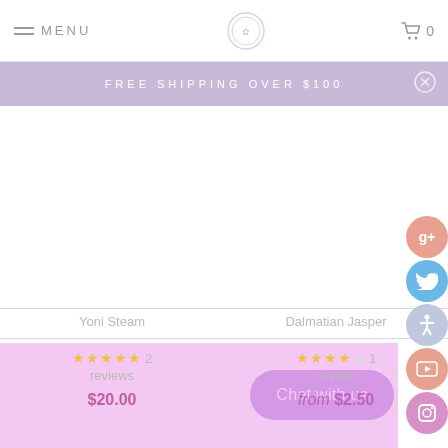MENU | [logo] | 0
FREE SHIPPING OVER $100
Yoni Steam
Dalmatian Jasper
★★★★★ 2 reviews $20.00
★★★★★ 1 review from $2.50
Chat with us